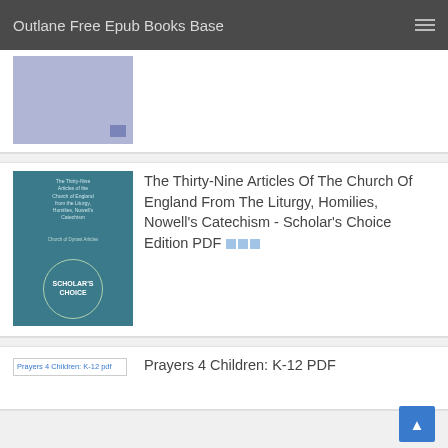Outlane Free Epub Books Base
[Figure (illustration): Partially visible blue-purple book cover at the top of the page, cropped]
[Figure (illustration): Book cover for 'The Thirty-Nine Articles Of The Church Of England From The Liturgy, Homilies, Nowell's Catechism - Scholar's Choice Edition' with teal background and Scholar's Choice badge]
The Thirty-Nine Articles Of The Church Of England From The Liturgy, Homilies, Nowell's Catechism - Scholar's Choice Edition PDF
[Figure (illustration): Broken image placeholder for Prayers 4 Children: K-12 pdf]
Prayers 4 Children: K-12 PDF